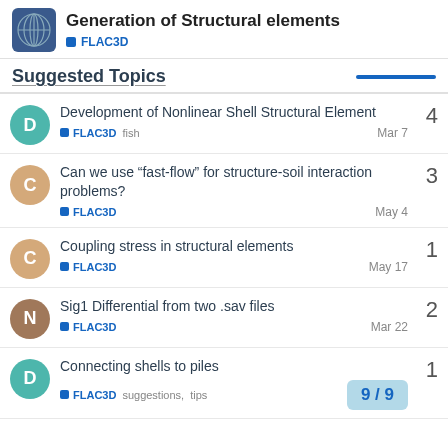Generation of Structural elements — FLAC3D
Suggested Topics
Development of Nonlinear Shell Structural Element — FLAC3D, fish — Mar 7 — 4 replies
Can we use “fast-flow” for structure-soil interaction problems? — FLAC3D — May 4 — 3 replies
Coupling stress in structural elements — FLAC3D — May 17 — 1 reply
Sig1 Differential from two .sav files — FLAC3D — Mar 22 — 2 replies
Connecting shells to piles — FLAC3D, suggestions, tips — 1 reply
9 / 9